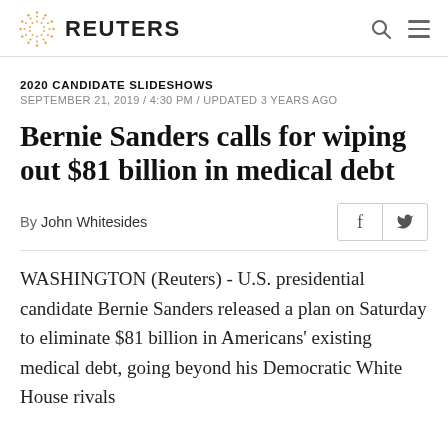REUTERS
2020 CANDIDATE SLIDESHOWS
SEPTEMBER 21, 2019 / 4:30 PM / UPDATED 3 YEARS AGO
Bernie Sanders calls for wiping out $81 billion in medical debt
By John Whitesides
WASHINGTON (Reuters) - U.S. presidential candidate Bernie Sanders released a plan on Saturday to eliminate $81 billion in Americans' existing medical debt, going beyond his Democratic White House rivals